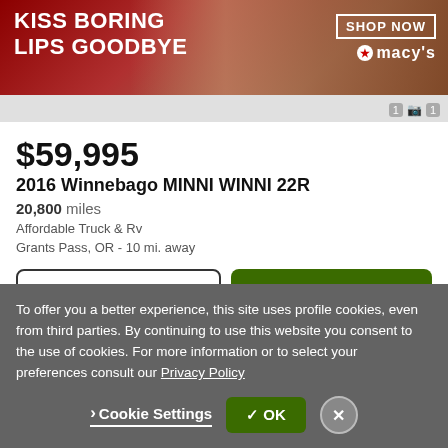[Figure (photo): Macy's advertisement banner with woman and red lips. Text: KISS BORING LIPS GOODBYE, SHOP NOW, Macy's logo]
$59,995
2016 Winnebago MINNI WINNI 22R
20,800 miles
Affordable Truck & Rv
Grants Pass, OR - 10 mi. away
Email
Call
Video chat with this dealer 💬
To offer you a better experience, this site uses profile cookies, even from third parties. By continuing to use this website you consent to the use of cookies. For more information or to select your preferences consult our Privacy Policy
Cookie Settings
✓ OK